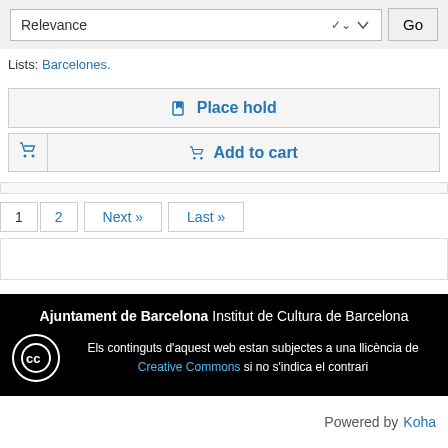[Figure (screenshot): Sort dropdown showing 'Relevance' with chevron and Go button]
Lists: Barcelones.
Place hold
Add to cart
1  2  Next »  Last »
Ajuntament de Barcelona Institut de Cultura de Barcelona
Els continguts d'aquest web estan subjectes a una llicència de Creative Commons si no s'indica el contrari
Powered by Koha